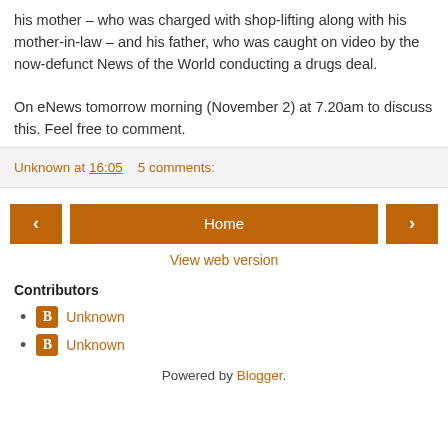his mother – who was charged with shop-lifting along with his mother-in-law – and his father, who was caught on video by the now-defunct News of the World conducting a drugs deal.

On eNews tomorrow morning (November 2) at 7.20am to discuss this. Feel free to comment.
Unknown at 16:05    5 comments:
[Figure (other): Navigation bar with left arrow button, Home button, and right arrow button in orange/brown color]
View web version
Contributors
Unknown
Unknown
Powered by Blogger.